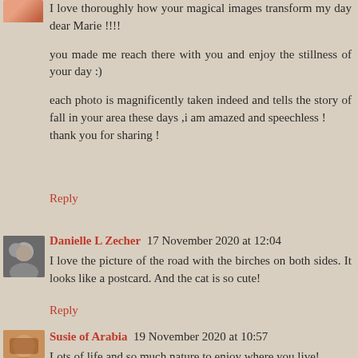I love thoroughly how your magical images transform my day dear Marie !!!!

you made me reach there with you and enjoy the stillness of your day :)

each photo is magnificently taken indeed and tells the story of fall in your area these days ,i am amazed and speechless !
thank you for sharing !
Reply
Danielle L Zecher  17 November 2020 at 12:04
I love the picture of the road with the birches on both sides. It looks like a postcard. And the cat is so cute!
Reply
Susie of Arabia  19 November 2020 at 10:57
Lots of life and so much nature to enjoy where you live!